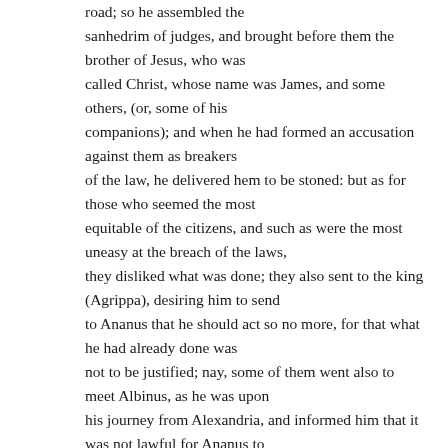road; so he assembled the sanhedrim of judges, and brought before them the brother of Jesus, who was called Christ, whose name was James, and some others, (or, some of his companions); and when he had formed an accusation against them as breakers of the law, he delivered hem to be stoned: but as for those who seemed the most equitable of the citizens, and such as were the most uneasy at the breach of the laws, they disliked what was done; they also sent to the king (Agrippa), desiring him to send to Ananus that he should act so no more, for that what he had already done was not to be justified; nay, some of them went also to meet Albinus, as he was upon his journey from Alexandria, and informed him that it was not lawful for Ananus to assemble a sanhedrim without his consent. Whereupon Albinus complied with what they said, and wrote in anger to Ananus, and